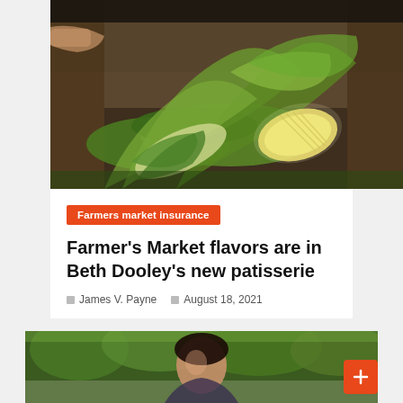[Figure (photo): Photo of corn ears and green leafy vegetables in a wooden crate at a farmer's market, with a hand visible in the background]
Farmers market insurance
Farmer's Market flavors are in Beth Dooley's new patisserie
James V. Payne   August 18, 2021
[Figure (photo): Partial photo showing a person outdoors with trees in the background, cut off at bottom of page]